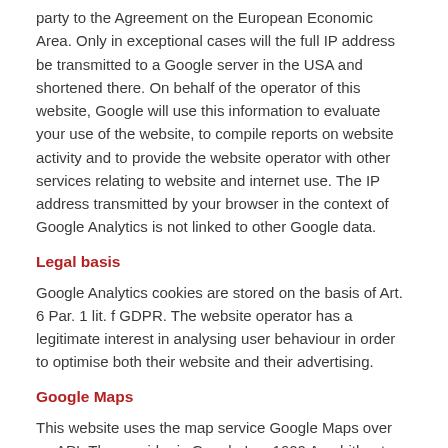party to the Agreement on the European Economic Area. Only in exceptional cases will the full IP address be transmitted to a Google server in the USA and shortened there. On behalf of the operator of this website, Google will use this information to evaluate your use of the website, to compile reports on website activity and to provide the website operator with other services relating to website and internet use. The IP address transmitted by your browser in the context of Google Analytics is not linked to other Google data.
Legal basis
Google Analytics cookies are stored on the basis of Art. 6 Par. 1 lit. f GDPR. The website operator has a legitimate interest in analysing user behaviour in order to optimise both their website and their advertising.
Google Maps
This website uses the map service Google Maps over an API. The provider is Google Inc, 1600 Amphitheatre Parkway Mountain View, CA 94043, USA. To use the features of Google Maps it is necessary to save your IP address. This information